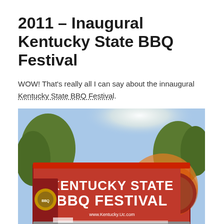2011 – Inaugural Kentucky State BBQ Festival
WOW!  That's really all I can say about the innaugural Kentucky State BBQ Festival.
[Figure (photo): Photo of a red truck/vehicle with a large sign reading 'KENTUCKY STATE BBQ FESTIVAL' and website www.Kentucky.Uc.com, parked outdoors with trees in background.]
Brad & Cindy Simmons of Lucky Dog BBQ contacted me a couple of months ago about an idea that they had to create a festival atmosphere where competition quality